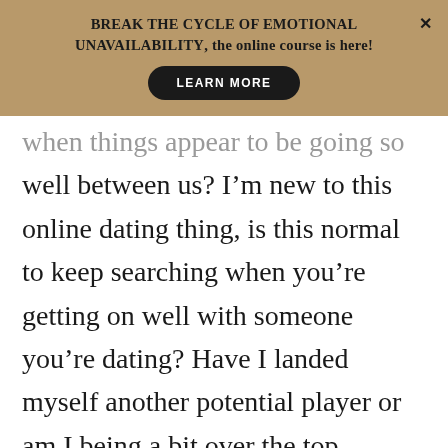BREAK THE CYCLE OF EMOTIONAL UNAVAILABILITY, the online course is here!
when things appear to be going so well between us? I'm new to this online dating thing, is this normal to keep searching when you're getting on well with someone you're dating? Have I landed myself another potential player or am I being a bit over the top wanting some sort of exclusive dating at such an early stage?